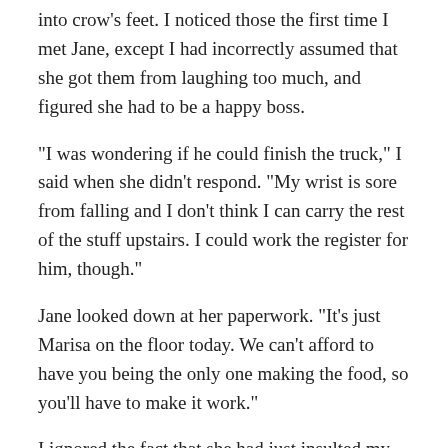into crow's feet. I noticed those the first time I met Jane, except I had incorrectly assumed that she got them from laughing too much, and figured she had to be a happy boss.
“I was wondering if he could finish the truck,” I said when she didn’t respond. “My wrist is sore from falling and I don’t think I can carry the rest of the stuff upstairs. I could work the register for him, though.”
Jane looked down at her paperwork. “It’s just Marisa on the floor today. We can’t afford to have you being the only one making the food, so you’ll have to make it work.”
I ignored the fact that she had just insulted my ability to put together tacos. “Where’s Alex?”
“He called in this morning to quit. Didn’t even